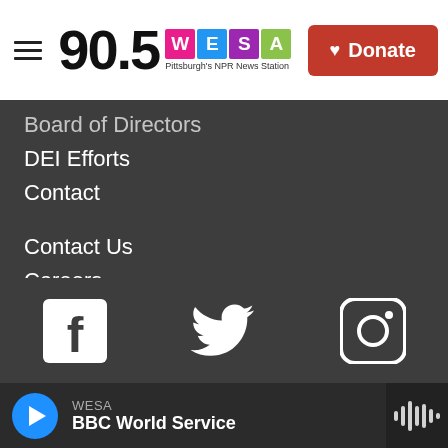90.5 WESA - Pittsburgh's NPR News Station | Donate
Board of Directors
DEI Efforts
Contact
Contact Us
Careers
Resources
Reports & Resources
Public Files
Privacy & Terms of Use
COVID-19
FCC Applications
[Figure (illustration): Social media icons: Facebook, Twitter, Instagram]
WESA - BBC World Service (player bar)